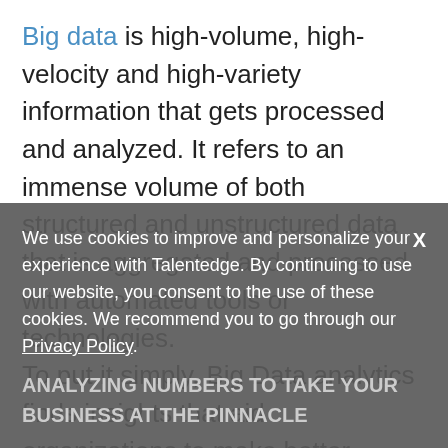Big data is high-volume, high-velocity and high-variety information that gets processed and analyzed. It refers to an immense volume of both structured and unstructured data that is aggregated and processed with automated tools or technologies. To put it simply, Big Data analytics finds insights that aid organizations to make better strategic decisions. Big data assimilates all the data it can, for example, thousands of attributes of a single customer and then sets out to figure the behaviour of that customer, what they want, what will they buy, who they interact with and how much they spend.
We use cookies to improve and personalize your experience with Talentedge. By continuing to use our website, you consent to the use of these cookies. We recommend you to go through our Privacy Policy.
ANALYZING NUMBERS TO TAKE YOUR BUSINESS AT THE PINNACLE